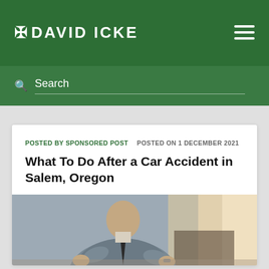DAVID ICKE
Search
POSTED BY SPONSORED POST   POSTED ON 1 DECEMBER 2021
What To Do After a Car Accident in Salem, Oregon
[Figure (photo): A person in a suit gesturing with their hands, seated at a desk, with bright window light in the background]